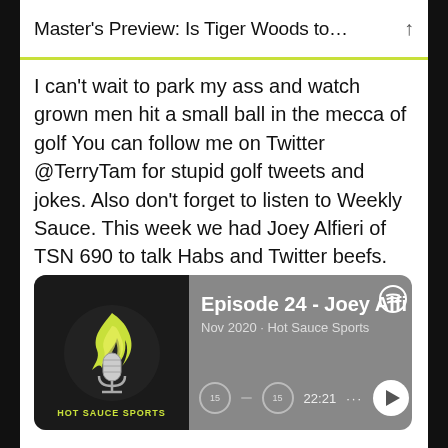Master's Preview: Is Tiger Woods to... ↑
I can't wait to park my ass and watch grown men hit a small ball in the mecca of golf You can follow me on Twitter @TerryTam for stupid golf tweets and jokes. Also don't forget to listen to Weekly Sauce. This week we had Joey Alfieri of TSN 690 to talk Habs and Twitter beefs.
[Figure (screenshot): Spotify podcast player card showing 'Episode 24 - Joey Alfi...' from Hot Sauce Sports, Nov 2020, with album art featuring a microphone with flame logo and playback controls showing 22:21 duration]